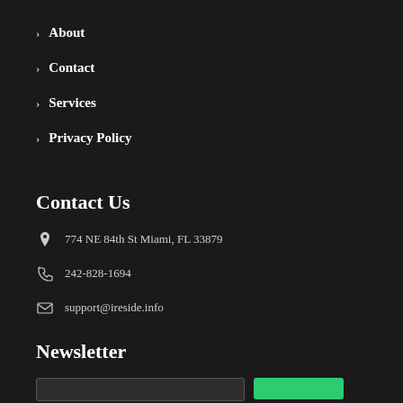> About
> Contact
> Services
> Privacy Policy
Contact Us
774 NE 84th St Miami, FL 33879
242-828-1694
support@ireside.info
Newsletter